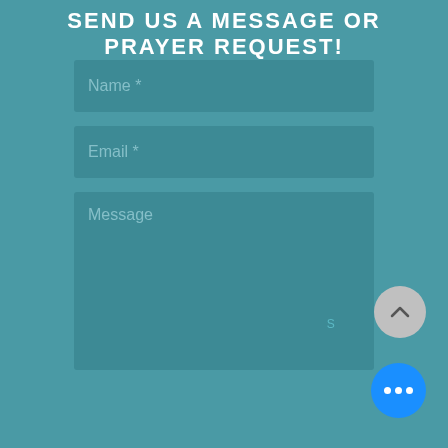SEND US A MESSAGE OR PRAYER REQUEST!
Name *
Email *
Message
[Figure (screenshot): Scroll-to-top button, circular gray button with upward chevron arrow icon]
[Figure (screenshot): Chat button, circular bright blue button with three white dots (ellipsis)]